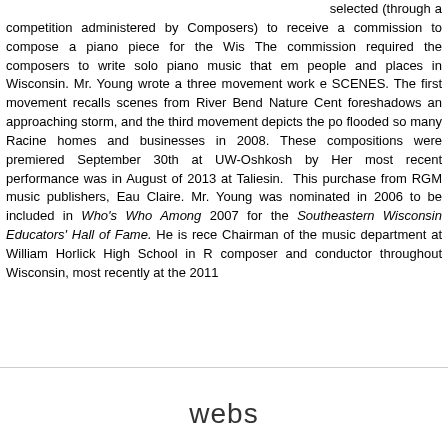selected (through a competition administered by Composers) to receive a commission to compose a piano piece for the Wis. The commission required the composers to write solo piano music that em people and places in Wisconsin. Mr. Young wrote a three movement work e SCENES. The first movement recalls scenes from River Bend Nature Cent foreshadows an approaching storm, and the third movement depicts the po flooded so many Racine homes and businesses in 2008. These compositions were premiered September 30th at UW-Oshkosh by Her most recent performance was in August of 2013 at Taliesin. This purchase from RGM music publishers, Eau Claire. Mr. Young was nominated in 2006 to be included in Who's Who Among 2007 for the Southeastern Wisconsin Educators' Hall of Fame. He is rece Chairman of the music department at William Horlick High School in R composer and conductor throughout Wisconsin, most recently at the 2011
webs